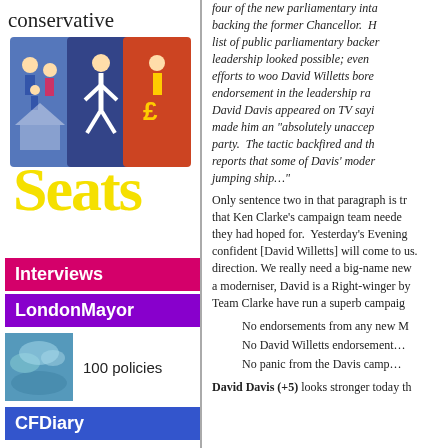conservative
[Figure (illustration): Conservative Seats website logo with illustrated figures on road signs and yellow Seats text]
Interviews
LondonMayor
[Figure (photo): Small thumbnail image, blue/green tones]
100 policies
CFDiary
Advertising
four of the new parliamentary inta... backing the former Chancellor. H... list of public parliamentary backer... leadership looked possible; even ... efforts to woo David Willetts bore ... endorsement in the leadership ra... David Davis appeared on TV sayi... made him an "absolutely unaccep... party. The tactic backfired and th... reports that some of Davis' moder... jumping ship…"
Only sentence two in that paragraph is tr... that Ken Clarke's campaign team neede... they had hoped for. Yesterday's Evening... confident [David Willetts] will come to us... direction. We really need a big-name new... a moderniser, David is a Right-winger by... Team Clarke have run a superb campaig...
No endorsements from any new M...
No David Willetts endorsement…
No panic from the Davis camp…
David Davis (+5) looks stronger today th...